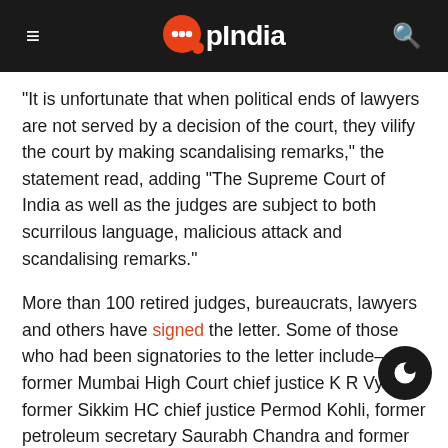OpIndia
“It is unfortunate that when political ends of lawyers are not served by a decision of the court, they vilify the court by making scandalising remarks,” the statement read, adding “The Supreme Court of India as well as the judges are subject to both scurrilous language, malicious attack and scandalising remarks.”
More than 100 retired judges, bureaucrats, lawyers and others have signed the letter. Some of those who had been signatories to the letter include–former Mumbai High Court chief justice K R Vyas, former Sikkim HC chief justice Permod Kohli, former petroleum secretary Saurabh Chandra and former Punjab DGP P C Dogra.